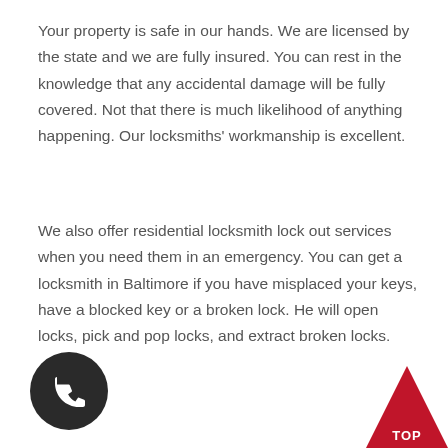Your property is safe in our hands. We are licensed by the state and we are fully insured. You can rest in the knowledge that any accidental damage will be fully covered. Not that there is much likelihood of anything happening. Our locksmiths' workmanship is excellent.
We also offer residential locksmith lock out services when you need them in an emergency. You can get a locksmith in Baltimore if you have misplaced your keys, have a blocked key or a broken lock. He will open locks, pick and pop locks, and extract broken locks.
[Figure (illustration): Black circle with white telephone handset icon (phone icon button)]
[Figure (illustration): Red upward-pointing triangle/arrow button with white text 'TOP' in the bottom-right corner]